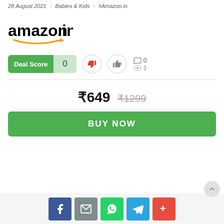28 August 2021 · Babies & Kids #Amazon.in
[Figure (logo): Amazon.in logo with orange arrow smile underneath]
Deal Score 0
Comments: 0, Views: 1
₹649  ₹1299
BUY NOW
[Figure (infographic): Social share bar with Facebook, Email, WhatsApp, Telegram, and More buttons]